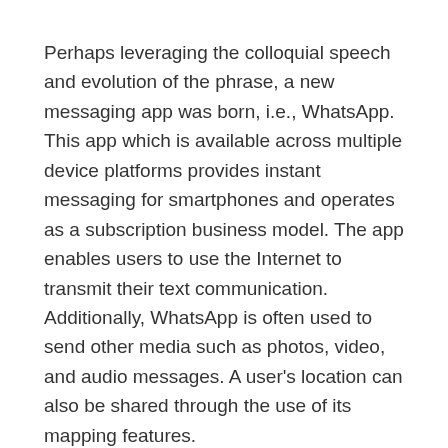Perhaps leveraging the colloquial speech and evolution of the phrase, a new messaging app was born, i.e., WhatsApp. This app which is available across multiple device platforms provides instant messaging for smartphones and operates as a subscription business model. The app enables users to use the Internet to transmit their text communication. Additionally, WhatsApp is often used to send other media such as photos, video, and audio messages. A user's location can also be shared through the use of its mapping features.
I was surprised when SnapChat was recently valued at a whopping $10 billion. However, WhatsApp, was purchased by Facebook for $19 billion in February